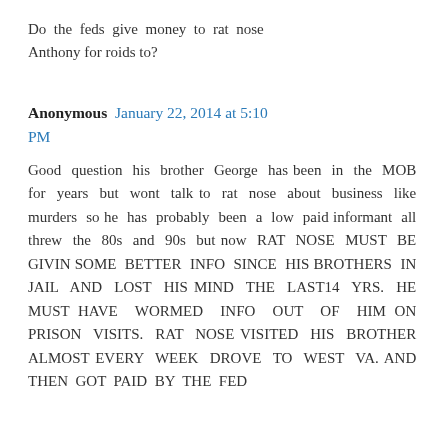Do the feds give money to rat nose Anthony for roids to?
Anonymous January 22, 2014 at 5:10 PM
Good question his brother George has been in the MOB for years but wont talk to rat nose about business like murders so he has probably been a low paid informant all threw the 80s and 90s but now RAT NOSE MUST BE GIVIN SOME BETTER INFO SINCE HIS BROTHERS IN JAIL AND LOST HIS MIND THE LAST14 YRS. HE MUST HAVE WORMED INFO OUT OF HIM ON PRISON VISITS. RAT NOSE VISITED HIS BROTHER ALMOST EVERY WEEK DROVE TO WEST VA. AND THEN GOT PAID BY THE FED